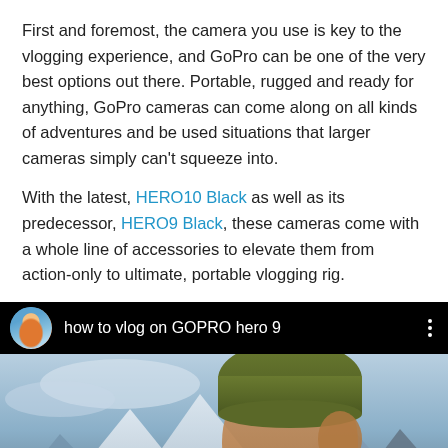First and foremost, the camera you use is key to the vlogging experience, and GoPro can be one of the very best options out there. Portable, rugged and ready for anything, GoPro cameras can come along on all kinds of adventures and be used situations that larger cameras simply can't squeeze into.
With the latest, HERO10 Black as well as its predecessor, HERO9 Black, these cameras come with a whole line of accessories to elevate them from action-only to ultimate, portable vlogging rig.
[Figure (screenshot): YouTube video thumbnail showing 'how to vlog on GOPRO hero 9' with a channel avatar on the left, title text in white on black bar, three-dot menu, and below: a person wearing a green beanie hat with mountains and sky in the background, with a GoPro camera in the lower left foreground.]